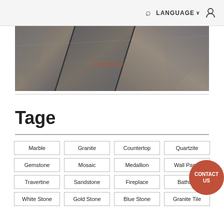🔍 LANGUAGE ∨ ⌒
[Figure (photo): Dark gray stone/slate tiles arranged in a geometric pattern, photographed from above. Tiles show natural variation in color from dark gray to brown. 'ShanShiStone' watermark visible in orange text at center.]
Tage
Marble
Granite
Countertop
Quartzite
Gemstone
Mosaic
Medallion
Wall Panel
Travertine
Sandstone
Fireplace
Bathtub
White Stone
Gold Stone
Blue Stone
Granite Tile